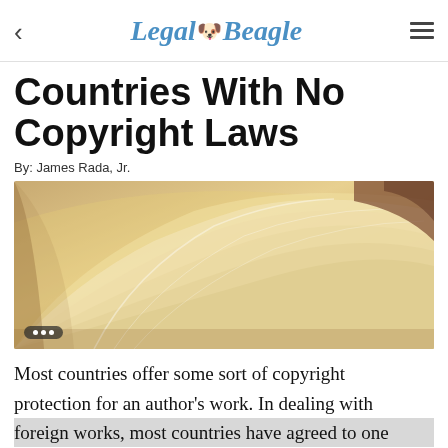Legal Beagle
Countries With No Copyright Laws
By: James Rada, Jr.
[Figure (photo): Close-up photo of fanned book pages, warm golden/cream tones]
Most countries offer some sort of copyright protection for an author's work. In dealing with foreign works, most countries have agreed to one